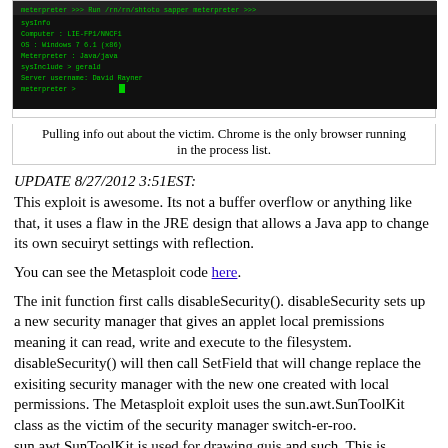[Figure (screenshot): Terminal/command prompt screenshot showing green text on black background with system info output from Metasploit meterpreter session]
Pulling info out about the victim. Chrome is the only browser running in the process list.
UPDATE 8/27/2012 3:51EST:
This exploit is awesome. Its not a buffer overflow or anything like that, it uses a flaw in the JRE design that allows a Java app to change its own secuiryt settings with reflection.
You can see the Metasploit code here.
The init function first calls disableSecurity(). disableSecurity sets up a new security manager that gives an applet local premissions meaning it can read, write and execute to the filesystem. disableSecurity() will then call SetField that will change replace the exisiting security manager with the new one created with local permissions. The Metasploit exploit uses the sun.awt.SunToolKit class as the victim of the security manager switch-er-roo. sun.awt.SunToolKit is used for drawing guis and such. This is